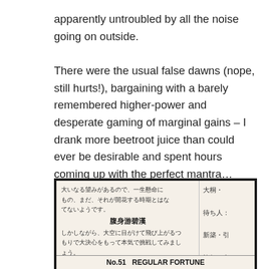apparently untroubled by all the noise going on outside.

There were the usual false dawns (nope, still hurts!), bargaining with a barely remembered higher-power and desperate gaming of marginal gains – I drank more beetroot juice than could ever be desirable and spent hours coming up with the perfect mantra… Once I got to Tokyo, I pumped 100-Yen coins into Buddhist shrines until I got a blessing that was at least cautiously optimistic. I even bought a health charm from one temple, reasoning that it couldn't hurt. I was willing to grasp at any passing straw, in summary.
[Figure (photo): A photograph of a Japanese fortune slip (omikuji) showing Japanese text in two columns with bold headers in Chinese characters. Left column contains Japanese text about fortune, with bold headers '腹身游碧漢' and '方得遇高枝'. Right column shows categories: 待ち人, 新築·引, 旅行：自, 結婚·付, 得るでし. Bottom bar reads 'No.51 REGULAR FORTUNE'.]